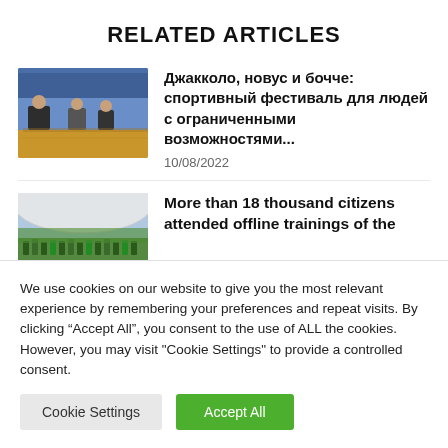RELATED ARTICLES
[Figure (photo): People playing bocce/sports in a gymnasium with yellow floor]
Джакколо, новус и бочче: спортивный фестиваль для людей с ограниченными возможностями...
10/08/2022
[Figure (photo): Crowd of people gathered outdoors under a tent or dome structure]
More than 18 thousand citizens attended offline trainings of the
We use cookies on our website to give you the most relevant experience by remembering your preferences and repeat visits. By clicking "Accept All", you consent to the use of ALL the cookies. However, you may visit "Cookie Settings" to provide a controlled consent.
Cookie Settings  Accept All